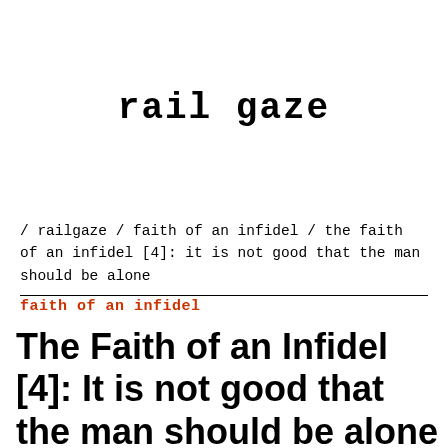rail gaze
/ railgaze / faith of an infidel / the faith of an infidel [4]: it is not good that the man should be alone
faith of an infidel
The Faith of an Infidel [4]: It is not good that the man should be alone